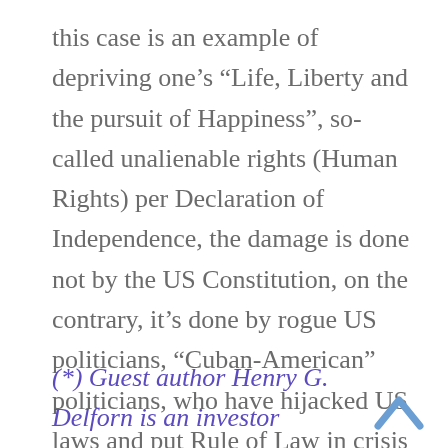this case is an example of depriving one’s “Life, Liberty and the pursuit of Happiness”, so-called unalienable rights (Human Rights) per Declaration of Independence, the damage is done not by the US Constitution, on the contrary, it’s done by rogue US politicians, “Cuban-American” politicians, who have hijacked US laws and put Rule of Law in crisis in America. Do you think they want you to know that?
(*) Guest author Henry G. Delforn is an investor (Cuban-born U.S. citizen who lives